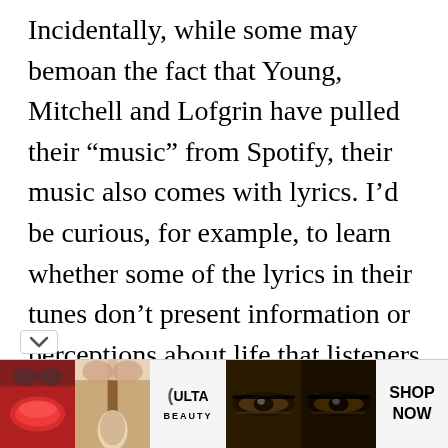Incidentally, while some may bemoan the fact that Young, Mitchell and Lofgrin have pulled their “music” from Spotify, their music also comes with lyrics. I’d be curious, for example, to learn whether some of the lyrics in their tunes don’t present information or perceptions about life that listeners would find false—or objectionable.
Suffice it to say, these three singer songwriters believe their influence to be more truthful and meaningful than Joe Rogans, and they felt they needed to use their
[Figure (other): ULTA Beauty advertisement banner with makeup images (lips with red lipstick, makeup brush, eyes with makeup) and SHOP NOW call to action]